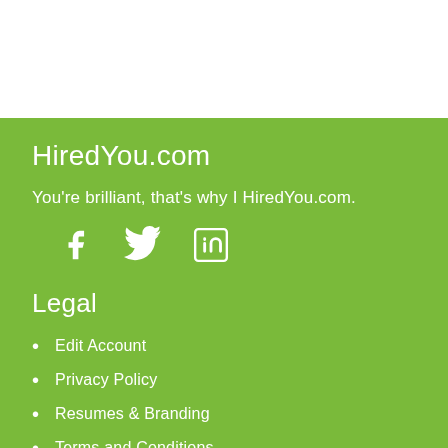HiredYou.com
You're brilliant, that's why I HiredYou.com.
[Figure (illustration): Social media icons: Facebook, Twitter, LinkedIn]
Legal
Edit Account
Privacy Policy
Resumes & Branding
Terms and Conditions